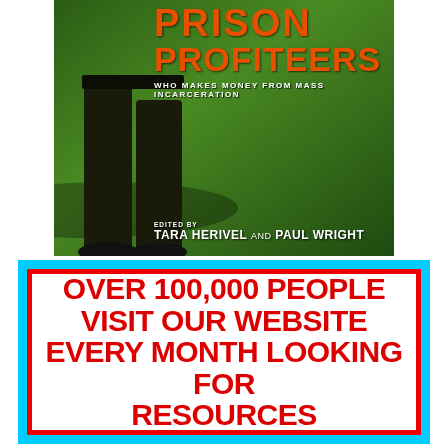[Figure (illustration): Book cover for 'Prison Profiteers: Who Makes Money from Mass Incarceration', edited by Tara Herivel and Paul Wright. Shows a person's legs in dark pants on a green grass background with a shadow. Title in large orange text, subtitle in small white caps, editors' names in large white text at bottom.]
OVER 100,000 PEOPLE VISIT OUR WEBSITE EVERY MONTH LOOKING FOR RESOURCES